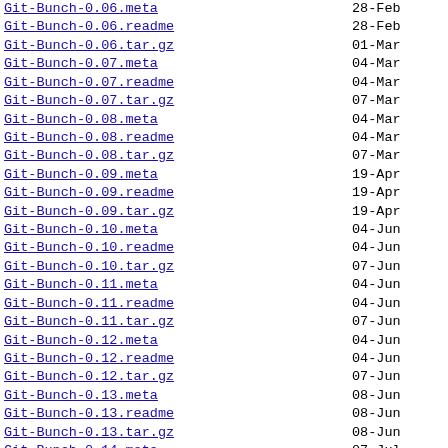Git-Bunch-0.06.meta  28-Feb
Git-Bunch-0.06.readme  28-Feb
Git-Bunch-0.06.tar.gz  01-Mar
Git-Bunch-0.07.meta  04-Mar
Git-Bunch-0.07.readme  04-Mar
Git-Bunch-0.07.tar.gz  07-Mar
Git-Bunch-0.08.meta  04-Mar
Git-Bunch-0.08.readme  04-Mar
Git-Bunch-0.08.tar.gz  07-Mar
Git-Bunch-0.09.meta  19-Apr
Git-Bunch-0.09.readme  19-Apr
Git-Bunch-0.09.tar.gz  19-Apr
Git-Bunch-0.10.meta  04-Jun
Git-Bunch-0.10.readme  04-Jun
Git-Bunch-0.10.tar.gz  07-Jun
Git-Bunch-0.11.meta  04-Jun
Git-Bunch-0.11.readme  04-Jun
Git-Bunch-0.11.tar.gz  07-Jun
Git-Bunch-0.12.meta  04-Jun
Git-Bunch-0.12.readme  04-Jun
Git-Bunch-0.12.tar.gz  07-Jun
Git-Bunch-0.13.meta  08-Jun
Git-Bunch-0.13.readme  08-Jun
Git-Bunch-0.13.tar.gz  08-Jun
Git-Bunch-0.14.meta  07-Jul
Git-Bunch-0.14.readme  07-Jul
Git-Bunch-0.14.tar.gz  07-Jul
Git-Bunch-0.15.meta  03-Aug
Git-Bunch-0.15.readme  03-Aug
Git-Bunch-0.15.tar.gz  03-Aug
Git-Bunch-0.1?.meta  ...